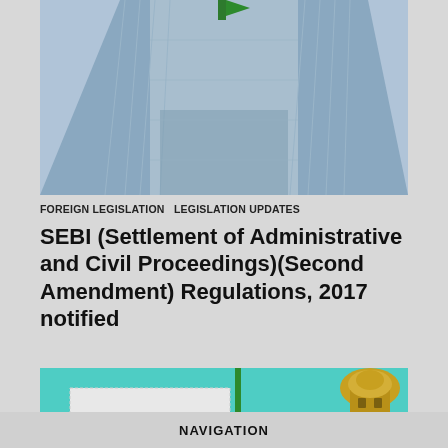[Figure (photo): Upward-angle view of a glass skyscraper with a green flag at the top, reflecting blue sky]
FOREIGN LEGISLATION  LEGISLATION UPDATES
SEBI (Settlement of Administrative and Civil Proceedings)(Second Amendment) Regulations, 2017 notified
[Figure (photo): Architectural scene with a green pole/flag and a yellow domed tower against a turquoise sky]
NAVIGATION